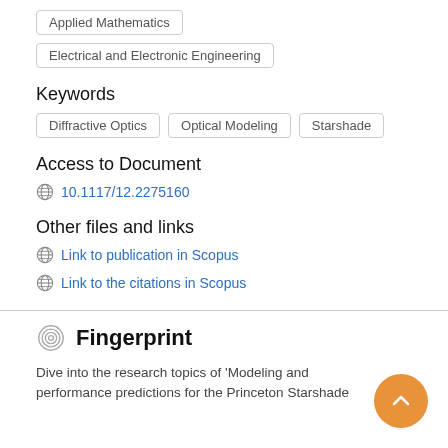Applied Mathematics
Electrical and Electronic Engineering
Keywords
Diffractive Optics
Optical Modeling
Starshade
Access to Document
10.1117/12.2275160
Other files and links
Link to publication in Scopus
Link to the citations in Scopus
Fingerprint
Dive into the research topics of 'Modeling and performance predictions for the Princeton Starshade